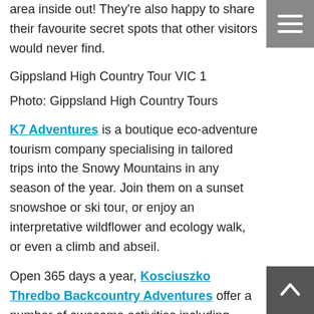area inside out! They're also happy to share their favourite secret spots that other visitors would never find.
[Figure (photo): Gippsland High Country Tour VIC 1 - broken/missing image placeholder with alt text]
Photo: Gippsland High Country Tours
K7 Adventures is a boutique eco-adventure tourism company specialising in tailored trips into the Snowy Mountains in any season of the year. Join them on a sunset snowshoe or ski tour, or enjoy an interpretative wildflower and ecology walk, or even a climb and abseil.
Open 365 days a year, Kosciuszko Thredbo Backcountry Adventures offer a number of awesome activities including skiing, snowboarding, mountain biking, hiking,